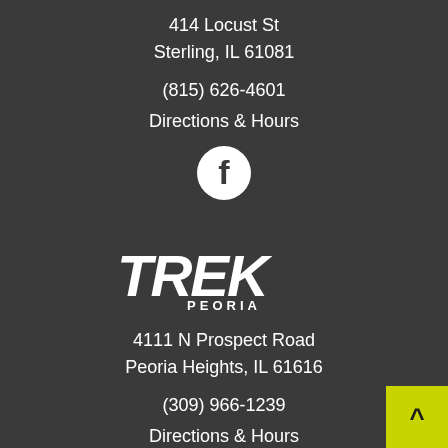414 Locust St
Sterling, IL 61081
(815) 626-4601
Directions & Hours
[Figure (logo): Facebook logo icon in white circle]
[Figure (logo): Trek logo in white italic bold text]
PEORIA
4111 N Prospect Road
Peoria Heights, IL 61616
(309) 966-1239
Directions & Hours
[Figure (logo): Facebook logo icon in white circle (partial)]
[Figure (other): Yellow-green back to top button with up arrow]